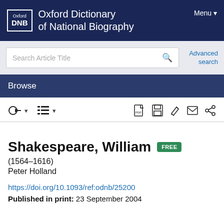Oxford Dictionary of National Biography
Menu
Search Article Title
Advanced search
Browse
Shakespeare, William (1564–1616)
Peter Holland
https://doi.org/10.1093/ref:odnb/25200
Published in print: 23 September 2004